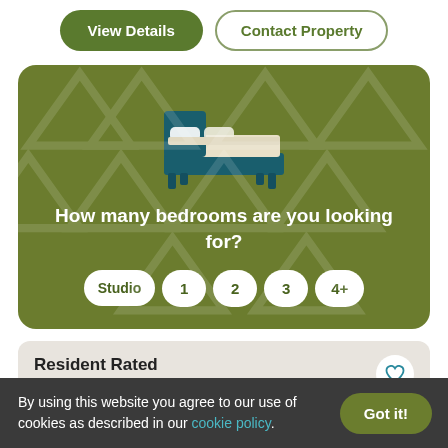View Details
Contact Property
[Figure (illustration): Illustration of a bed with white bedding and a teal/dark green headboard and frame, on a green background card with faint triangle/diamond watermark pattern.]
How many bedrooms are you looking for?
Studio
1
2
3
4+
Resident Rated
By using this website you agree to our use of cookies as described in our cookie policy.